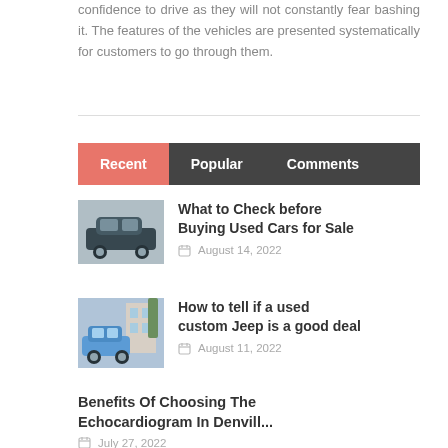confidence to drive as they will not constantly fear bashing it. The features of the vehicles are presented systematically for customers to go through them.
Recent | Popular | Comments
What to Check before Buying Used Cars for Sale — August 14, 2022
How to tell if a used custom Jeep is a good deal — August 11, 2022
Benefits Of Choosing The Echocardiogram In Denvill... — July 27, 2022